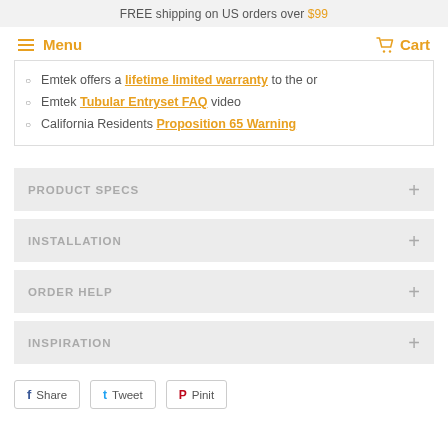FREE shipping on US orders over $99
Menu  Cart
Emtek offers a lifetime limited warranty to the or
Emtek Tubular Entryset FAQ video
California Residents Proposition 65 Warning
PRODUCT SPECS
INSTALLATION
ORDER HELP
INSPIRATION